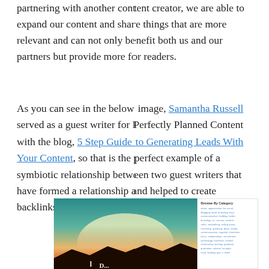partnering with another content creator, we are able to expand our content and share things that are more relevant and can not only benefit both us and our partners but provide more for readers.
As you can see in the below image, Samantha Russell served as a guest writer for Perfectly Planned Content with the blog, 5 Step Guide to Generating Leads With Your Content, so that is the perfect example of a symbiotic relationship between two guest writers that have formed a relationship and helped to create backlinks for their sites!
[Figure (screenshot): Screenshot of a blog post page showing a sunset/landscape image on the left and a 'Browse By Category' sidebar on the right with various tag links.]